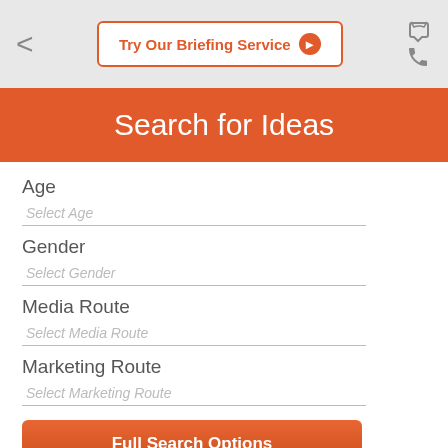Try Our Briefing Service
Search for Ideas
Age
Select Age
Gender
Select Gender
Media Route
Select Media Route
Marketing Route
Select Marketing Route
Full Search Options
Get In Touch
nds and their agencies to find